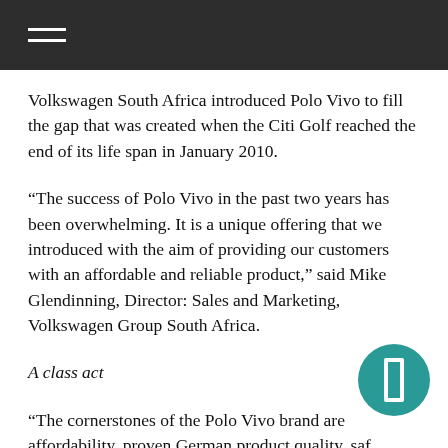Volkswagen South Africa introduced Polo Vivo to fill the gap that was created when the Citi Golf reached the end of its life span in January 2010.
“The success of Polo Vivo in the past two years has been overwhelming. It is a unique offering that we introduced with the aim of providing our customers with an affordable and reliable product,” said Mike Glendinning, Director: Sales and Marketing, Volkswagen Group South Africa.
A class act
“The cornerstones of the Polo Vivo brand are affordability, proven German product quality, safety, space and comfort. It represents excellent value for money without compromising on core product essentials that customers expect from Volkswagen.